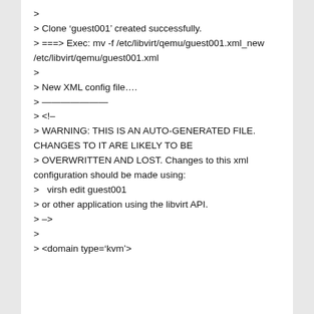>
> Clone 'guest001' created successfully.
> ===> Exec: mv -f /etc/libvirt/qemu/guest001.xml_new /etc/libvirt/qemu/guest001.xml
>
> New XML config file….
> ————————
> <!–
> WARNING: THIS IS AN AUTO-GENERATED FILE. CHANGES TO IT ARE LIKELY TO BE
> OVERWRITTEN AND LOST. Changes to this xml configuration should be made using:
>   virsh edit guest001
> or other application using the libvirt API.
> –>
>
> <domain type='kvm'>